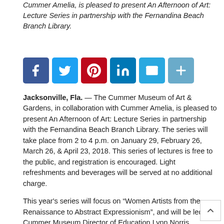Cummer Amelia, is pleased to present An Afternoon of Art: Lecture Series in partnership with the Fernandina Beach Branch Library.
[Figure (other): Social media sharing buttons: Facebook, Twitter, Pinterest, LinkedIn, Email, More]
Jacksonville, Fla. — The Cummer Museum of Art & Gardens, in collaboration with Cummer Amelia, is pleased to present An Afternoon of Art: Lecture Series in partnership with the Fernandina Beach Branch Library. The series will take place from 2 to 4 p.m. on January 29, February 26, March 26, & April 23, 2018. This series of lectures is free to the public, and registration is encouraged. Light refreshments and beverages will be served at no additional charge.
This year's series will focus on “Women Artists from the Renaissance to Abstract Expressionism”, and will be led by Cummer Museum Director of Education Lynn Norris.
January 29: Explore the women artists who were prominent in